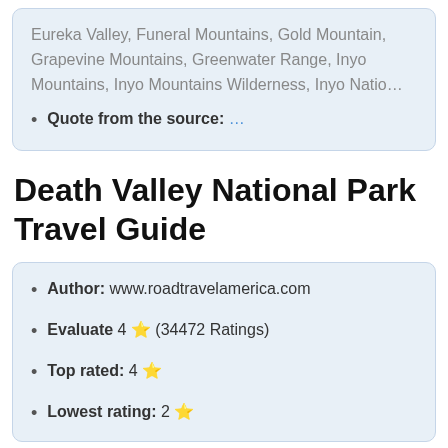Eureka Valley, Funeral Mountains, Gold Mountain, Grapevine Mountains, Greenwater Range, Inyo Mountains, Inyo Mountains Wilderness, Inyo Natio…
Quote from the source: …
Death Valley National Park Travel Guide
Author: www.roadtravelamerica.com
Evaluate 4 ⭐ (34472 Ratings)
Top rated: 4 ⭐
Lowest rating: 2 ⭐